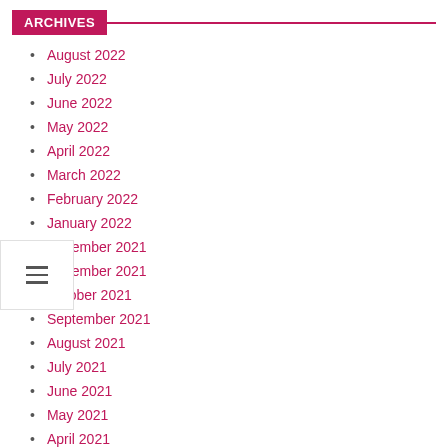ARCHIVES
August 2022
July 2022
June 2022
May 2022
April 2022
March 2022
February 2022
January 2022
December 2021
November 2021
October 2021
September 2021
August 2021
July 2021
June 2021
May 2021
April 2021